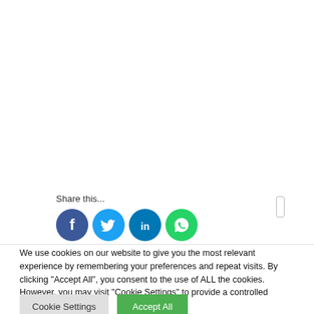Share this...
[Figure (illustration): Social media share buttons: Facebook (blue circle with f), Twitter (light blue circle with bird), LinkedIn (dark blue circle with in), WhatsApp (green circle with phone)]
We use cookies on our website to give you the most relevant experience by remembering your preferences and repeat visits. By clicking "Accept All", you consent to the use of ALL the cookies. However, you may visit "Cookie Settings" to provide a controlled consent.
Cookie Settings
Accept All